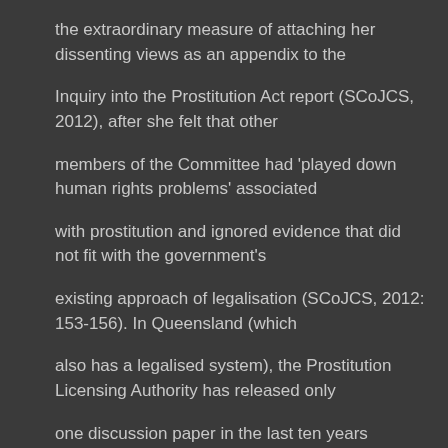the extraordinary measure of attaching her dissenting views as an appendix to the
Inquiry into the Prostitution Act report (SCoJCS, 2012), after she felt that other
members of the Committee had 'played down human rights problems' associated
with prostitution and ignored evidence that did not fit with the government's
existing approach of legalisation (SCoJCS, 2012: 153-156). In Queensland (which
also has a legalised system), the Prostitution Licensing Authority has released only
one discussion paper in the last ten years (Wallace, 2010) and it is specifically